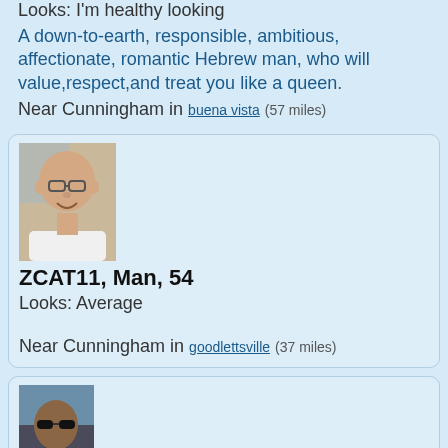Looks: I'm healthy looking
A down-to-earth, responsible, ambitious, affectionate, romantic Hebrew man, who will value,respect,and treat you like a queen.
Near Cunningham in buena vista (57 miles)
[Figure (photo): Profile photo of a middle-aged bald man with glasses, smiling, wearing a white shirt]
ZCAT11, Man, 54
Looks: Average
Near Cunningham in goodlettsville (37 miles)
[Figure (photo): Profile photo of a person wearing sunglasses, partially visible]